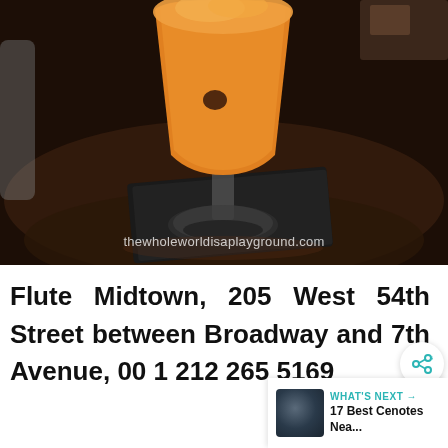[Figure (photo): Photo of an orange cocktail drink in a stemmed glass placed on a dark square napkin on a reflective dark surface. Watermark reads 'thewholeworldisaplayground.com' at the bottom of the image.]
Flute Midtown, 205 West 54th Street between Broadway and 7th Avenue, 00 1 212 265 5169